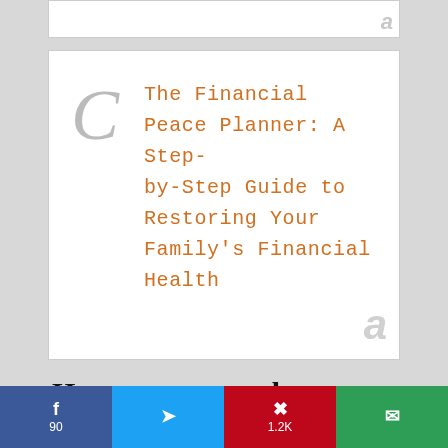[Figure (other): Amazon advertisement banner strip at top]
[Figure (other): Amazon advertisement box showing book title: The Financial Peace Planner: A Step-by-Step Guide to Restoring Your Family's Financial Health, with large stylized C letter and Amazon logo watermark]
However, my goal was to find ways to have a free Christmas!
You’ve heard of a no-spend
f 90  [Twitter icon]  P 1.2K  [Email icon]